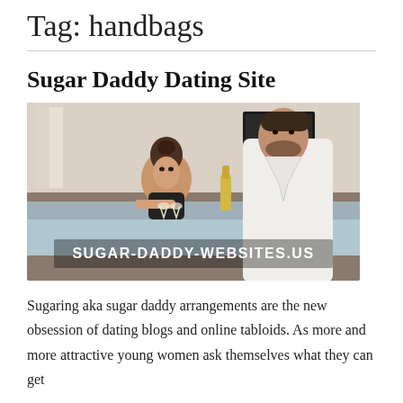Tag: handbags
Sugar Daddy Dating Site
[Figure (photo): A woman in a hot tub holding champagne glasses looking up at a man in a white robe, with watermark text SUGAR-DADDY-WEBSITES.US]
Sugaring aka sugar daddy arrangements are the new obsession of dating blogs and online tabloids. As more and more attractive young women ask themselves what they can get